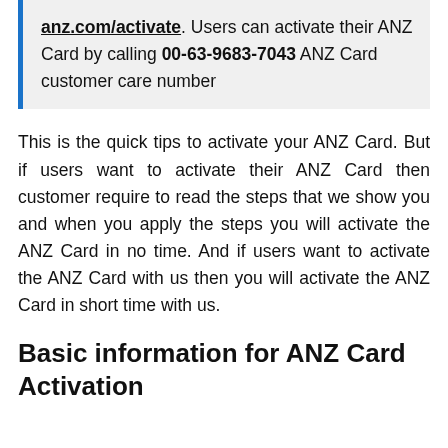anz.com/activate. Users can activate their ANZ Card by calling 00-63-9683-7043 ANZ Card customer care number
This is the quick tips to activate your ANZ Card. But if users want to activate their ANZ Card then customer require to read the steps that we show you and when you apply the steps you will activate the ANZ Card in no time. And if users want to activate the ANZ Card with us then you will activate the ANZ Card in short time with us.
Basic information for ANZ Card Activation